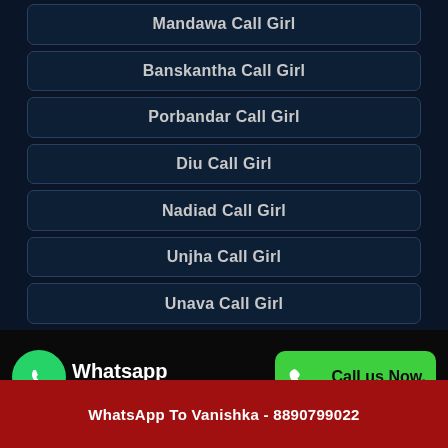Mandawa Call Girl
Banskantha Call Girl
Porbandar Call Girl
Diu Call Girl
Nadiad Call Girl
Unjha Call Girl
Unava Call Girl
Whatsapp click to chat
Call us Now.
Call Vanishka Now - 8890799022
WhatsApp To Vanishka - 8890799022